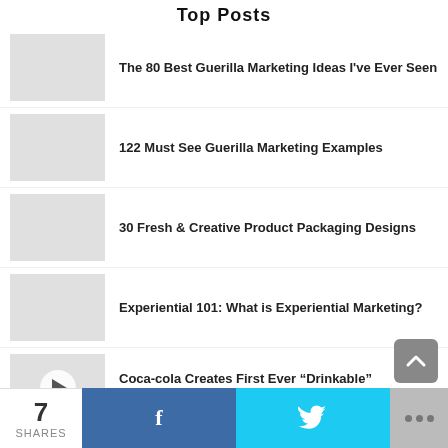Top Posts
The 80 Best Guerilla Marketing Ideas I’ve Ever Seen
122 Must See Guerilla Marketing Examples
30 Fresh & Creative Product Packaging Designs
Experiential 101: What is Experiential Marketing?
Coca-cola Creates First Ever “Drinkable” Advertising Campaign